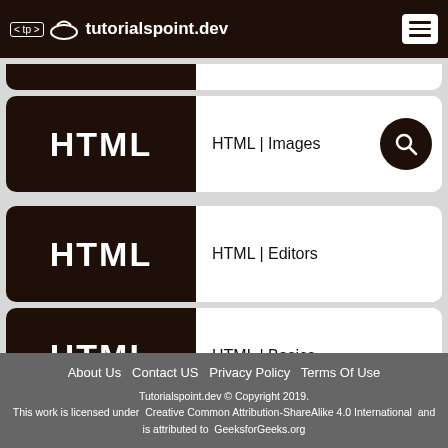< tp > tutorialspoint.dev
[Figure (screenshot): Tutorialspoint.dev website screenshot showing HTML tutorial cards with dark brown left panels labeled HTML and white right panels with topic names: HTML | Images, HTML | Editors, HTML | Basics]
HTML | Images
HTML | Editors
HTML | Basics
About Us  Contact US  Privacy Policy  Terms Of Use
Tutorialspoint.dev © Copyright 2019.
This work is licensed under  Creative Common Attribution-ShareAlike 4.0 International  and is attributed to  GeeksforGeeks.org